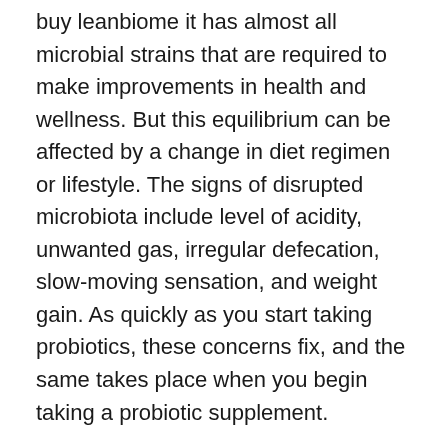buy leanbiome it has almost all microbial strains that are required to make improvements in health and wellness. But this equilibrium can be affected by a change in diet regimen or lifestyle. The signs of disrupted microbiota include level of acidity, unwanted gas, irregular defecation, slow-moving sensation, and weight gain. As quickly as you start taking probiotics, these concerns fix, and the same takes place when you begin taking a probiotic supplement.
From the details collected, LeanBiome can quickly be termed as one of the top probiotic supplements nowadays, as well as there are lots of factors to trust this item. According to the main website, it controls brain and body coordination and also regulates the psychological as well as